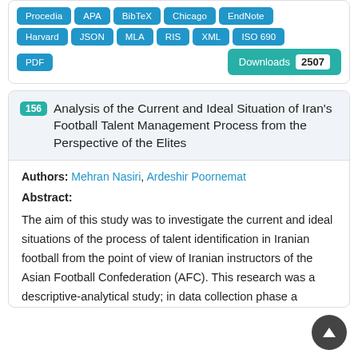[Figure (screenshot): Row of blue citation format buttons: Procedia, APA, BibTeX, Chicago, EndNote, Harvard, JSON, MLA, RIS, XML, ISO 690, PDF; and a teal Downloads button showing count 2507]
156 Analysis of the Current and Ideal Situation of Iran's Football Talent Management Process from the Perspective of the Elites
Authors: Mehran Nasiri, Ardeshir Poornemat
Abstract:
The aim of this study was to investigate the current and ideal situations of the process of talent identification in Iranian football from the point of view of Iranian instructors of the Asian Football Confederation (AFC). This research was a descriptive-analytical study; in data collection phase a